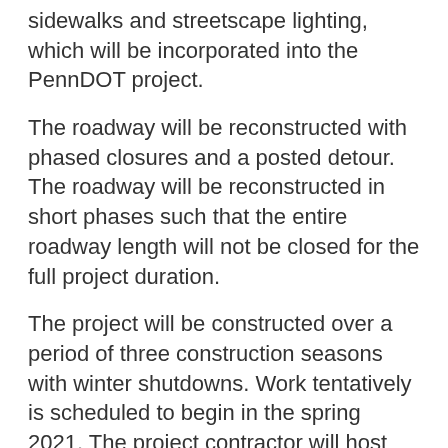sidewalks and streetscape lighting, which will be incorporated into the PennDOT project.
The roadway will be reconstructed with phased closures and a posted detour. The roadway will be reconstructed in short phases such that the entire roadway length will not be closed for the full project duration.
The project will be constructed over a period of three construction seasons with winter shutdowns. Work tentatively is scheduled to begin in the spring 2021. The project contractor will host another public meeting in early 2021 and prior to the start of construction to present the proposed phasing of the construction schedule.
If you have questions regarding this study, or if you require special accommodations, please contact Mr. Justin Gochenauer, PennDOT Project